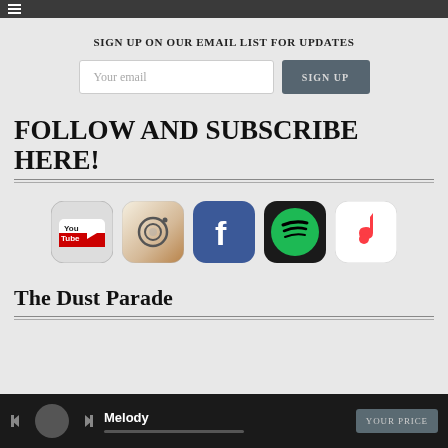≡
SIGN UP ON OUR EMAIL LIST FOR UPDATES
Your email | SIGN UP
FOLLOW AND SUBSCRIBE HERE!
[Figure (illustration): Five social media app icons in a row: YouTube, Instagram, Facebook, Spotify, Apple Music]
The Dust Parade
Melody — YOUR PRICE